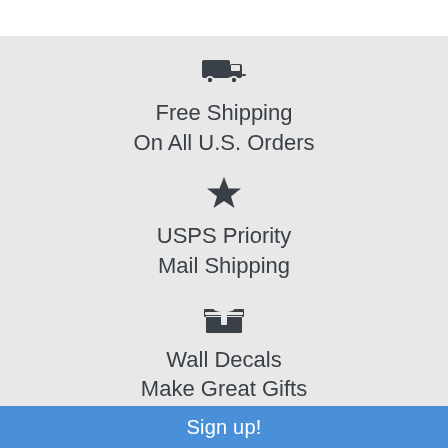[Figure (illustration): Delivery truck icon]
Free Shipping
On All U.S. Orders
[Figure (illustration): Star icon]
USPS Priority
Mail Shipping
[Figure (illustration): Gift box icon]
Wall Decals
Make Great Gifts
[Figure (illustration): Question mark circle icon (partially visible)]
Sign up!